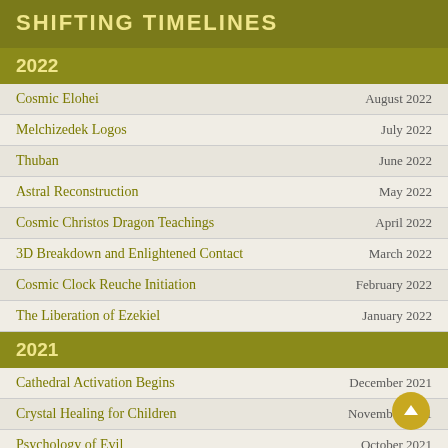SHIFTING TIMELINES
2022
Cosmic Elohei | August 2022
Melchizedek Logos | July 2022
Thuban | June 2022
Astral Reconstruction | May 2022
Cosmic Christos Dragon Teachings | April 2022
3D Breakdown and Enlightened Contact | March 2022
Cosmic Clock Reuche Initiation | February 2022
The Liberation of Ezekiel | January 2022
2021
Cathedral Activation Begins | December 2021
Crystal Healing for Children | November 2021
Psychology of Evil | October 2021